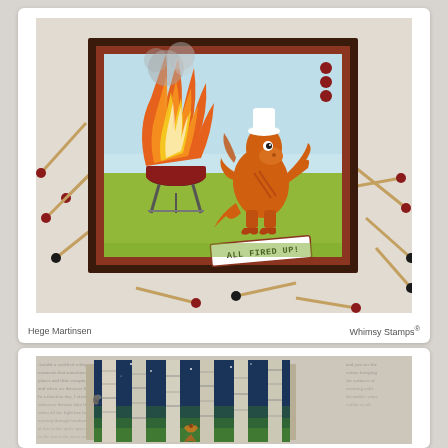[Figure (photo): Handmade greeting card featuring a cartoon dragon chef wearing a white chef's hat, standing next to a BBQ grill with large flames. The card is mounted on dark brown and rust-red mats. A tag reads 'ALL FIRED UP!' in bold letters. Matchsticks are scattered around the card on a cream background.]
Hege Martinsen                    Whimsy Stamps®
[Figure (photo): Handmade greeting card partially visible, featuring a night forest scene with white birch trees against a deep blue starry sky, with a butterfly or small animal visible. The card is set against a background with handwritten/printed script text.]